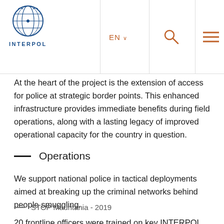INTERPOL — EN navigation header with search and menu icons
At the heart of the project is the extension of access for police at strategic border points. This enhanced infrastructure provides immediate benefits during field operations, along with a lasting legacy of improved operational capacity for the country in question.
Operations
We support national police in tactical deployments aimed at breaking up the criminal networks behind people smuggling.
STOP Mauritania - 2019
20 frontline officers were trained on key INTERPOL policing capabilities, leading to the arrest of an Iraqi citizen travelling on a stolen Danish passport.